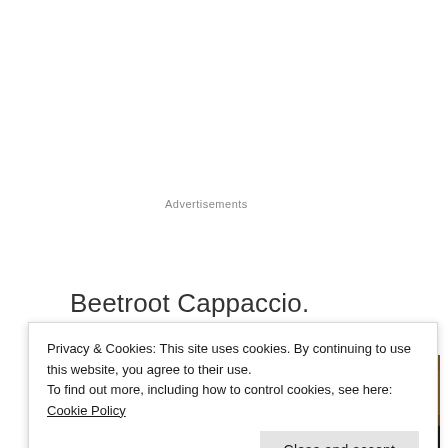Advertisements
Beetroot Cappaccio.
[Figure (photo): Close-up photo of a restaurant table setting with a glass of water and a white plate visible, warm wooden table background, dimly lit restaurant atmosphere.]
Privacy & Cookies: This site uses cookies. By continuing to use this website, you agree to their use.
To find out more, including how to control cookies, see here: Cookie Policy
Close and accept